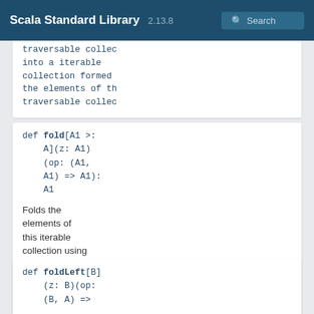Scala Standard Library 2.13.8 Search
traversable collec into a iterable collection formed the elements of th traversable collec
def fold[A1 >: A](z: A1)(op: (A1, A1) => A1): A1
Folds the elements of this iterable collection using the specified associative binary operator.
def foldLeft[B](z: B)(op: (B, A) =>